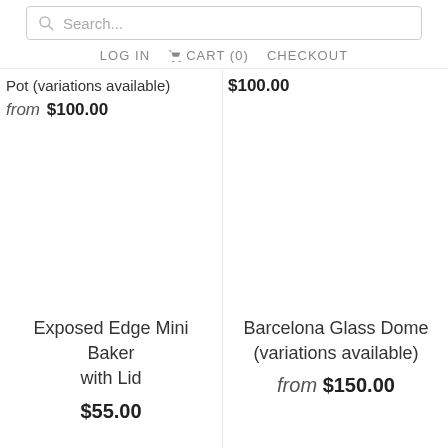Search... LOG IN CART (0) CHECKOUT
Pot (variations available) $100.00 from $100.00
[Figure (illustration): Empty white product image area for Exposed Edge Mini Baker with Lid]
Exposed Edge Mini Baker with Lid $55.00
[Figure (illustration): Empty white product image area for Barcelona Glass Dome (variations available)]
Barcelona Glass Dome (variations available) from $150.00